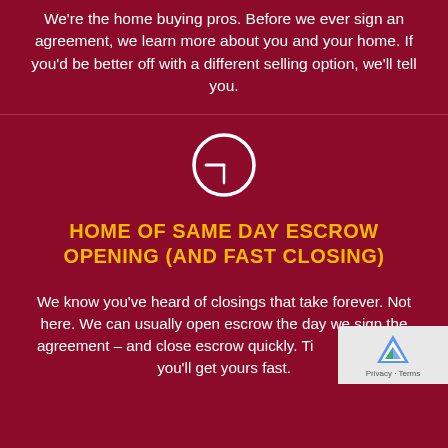We're the home buying pros. Before we ever sign an agreement, we learn more about you and your home. If you'd be better off with a different selling option, we'll tell you.
[Figure (illustration): Clock icon — white circle outline with clock hands pointing to approximately 9 o'clock]
HOME OF SAME DAY ESCROW OPENING (AND FAST CLOSING)
We know you've heard of closings that take forever. Not here. We can usually open escrow the day we sign the agreement – and close escrow quickly. Time is money... you'll get yours fast.